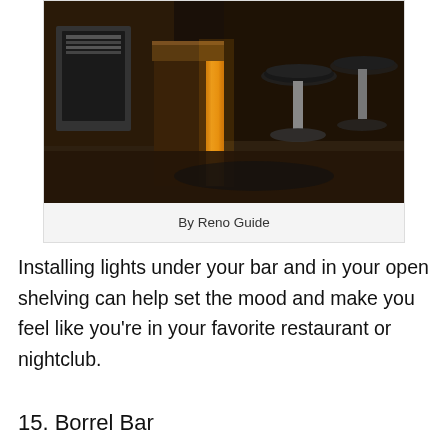[Figure (photo): A glowing illuminated bar counter with warm orange/amber light emanating from the sides, with two modern bar stools on a dark floor. A wine cooler or refrigerator is visible on the left. The bar appears to be in a modern home or restaurant setting.]
By Reno Guide
Installing lights under your bar and in your open shelving can help set the mood and make you feel like you're in your favorite restaurant or nightclub.
15. Borrel Bar